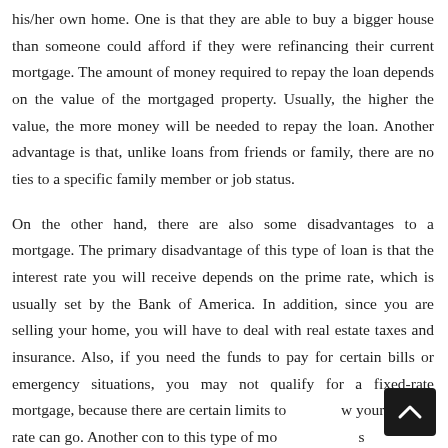his/her own home. One is that they are able to buy a bigger house than someone could afford if they were refinancing their current mortgage. The amount of money required to repay the loan depends on the value of the mortgaged property. Usually, the higher the value, the more money will be needed to repay the loan. Another advantage is that, unlike loans from friends or family, there are no ties to a specific family member or job status.
On the other hand, there are also some disadvantages to a mortgage. The primary disadvantage of this type of loan is that the interest rate you will receive depends on the prime rate, which is usually set by the Bank of America. In addition, since you are selling your home, you will have to deal with real estate taxes and insurance. Also, if you need the funds to pay for certain bills or emergency situations, you may not qualify for a fixed-rate mortgage, because there are certain limits to how your interest rate can go. Another con to this type of mo[rtgage] is